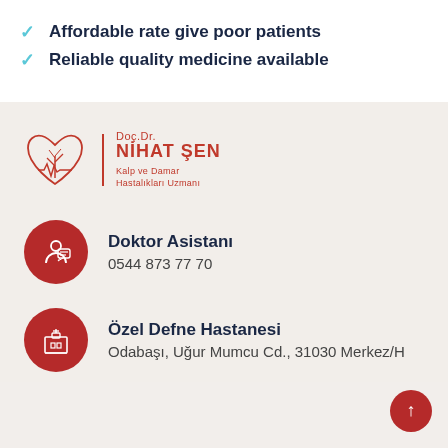Affordable rate give poor patients
Reliable quality medicine available
[Figure (logo): Doç.Dr. Nihat Şen - Kalp ve Damar Hastalıkları Uzmanı logo with heart and tree illustration]
Doktor Asistanı
0544 873 77 70
Özel Defne Hastanesi
Odabaşı, Uğur Mumcu Cd., 31030 Merkez/H